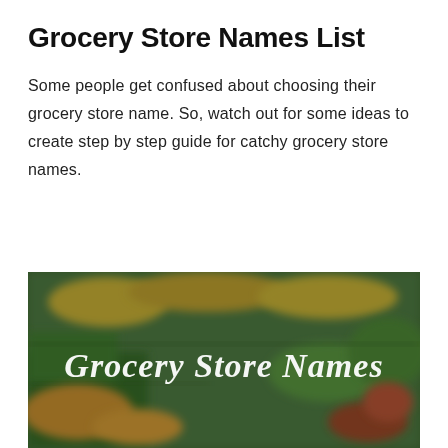Grocery Store Names List
Some people get confused about choosing their grocery store name. So, watch out for some ideas to create step by step guide for catchy grocery store names.
[Figure (photo): Blurred photo of a grocery store produce aisle with colorful fruits and vegetables in green bins, overlaid with white cursive text reading 'Grocery Store Names']